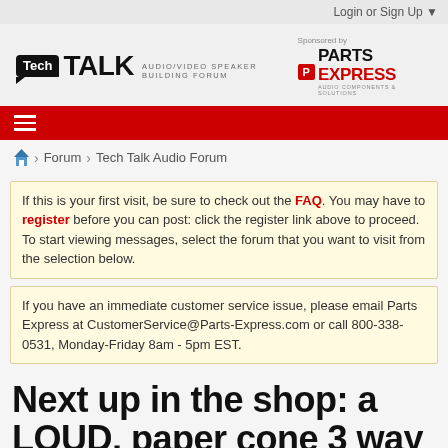Login or Sign Up ▼
[Figure (logo): Tech Talk Audio/Video Speaker Building Forum logo, sponsored by Parts Express]
≡
⌂ > Forum > Tech Talk Audio Forum
If this is your first visit, be sure to check out the FAQ. You may have to register before you can post: click the register link above to proceed. To start viewing messages, select the forum that you want to visit from the selection below.
If you have an immediate customer service issue, please email Parts Express at CustomerService@Parts-Express.com or call 800-338-0531, Monday-Friday 8am - 5pm EST.
Next up in the shop: a LOUD, paper cone 3 way